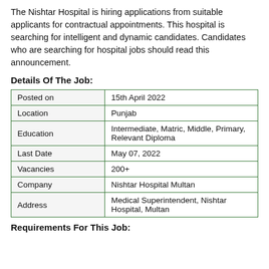The Nishtar Hospital is hiring applications from suitable applicants for contractual appointments. This hospital is searching for intelligent and dynamic candidates. Candidates who are searching for hospital jobs should read this announcement.
Details Of The Job:
| Posted on | 15th April 2022 |
| Location | Punjab |
| Education | Intermediate, Matric, Middle, Primary, Relevant Diploma |
| Last Date | May 07, 2022 |
| Vacancies | 200+ |
| Company | Nishtar Hospital Multan |
| Address | Medical Superintendent, Nishtar Hospital, Multan |
Requirements For This Job: